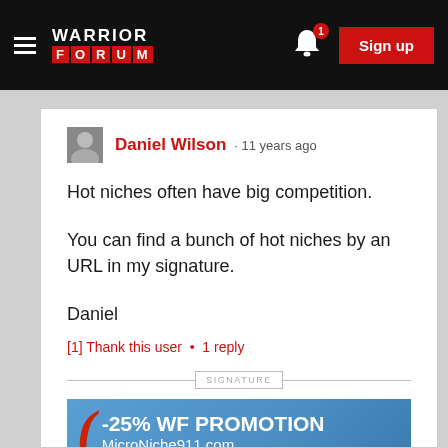WARRIOR FORUM · Sign up
Daniel Wilson · 11 years ago
Hot niches often have big competition.

You can find a bunch of hot niches by an URL in my signature.

Daniel
[1] Thank this user • 1 reply
[Figure (infographic): -25% WF PROMOTION MicroNiche911.com promotional banner with blue gradient background and red curl graphic]